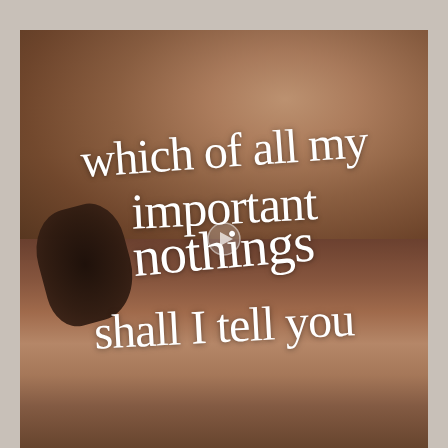[Figure (photo): A blurred close-up photo of hands writing with a pen on paper, with a dark ink bottle visible in the lower left. The image has warm brown tones. Over the image, white cursive script text reads: 'which of all my important nothings shall I tell you'. A semi-transparent play button triangle is overlaid in the center of the image.]